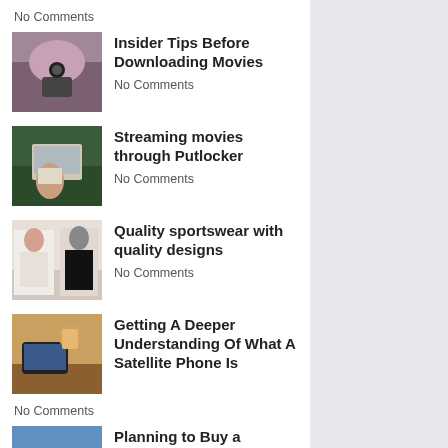No Comments
Insider Tips Before Downloading Movies — No Comments
Streaming movies through Putlocker — No Comments
Quality sportswear with quality designs — No Comments
Getting A Deeper Understanding Of What A Satellite Phone Is
No Comments
Planning to Buy a Condo? Read this first! — No Comments